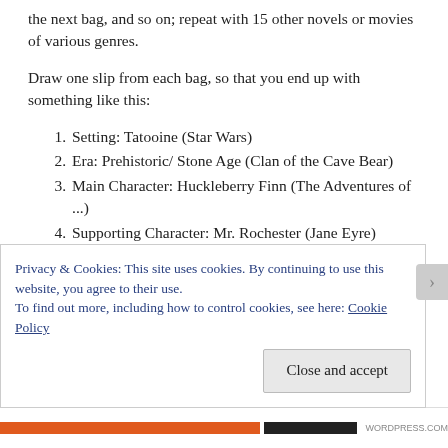the next bag, and so on; repeat with 15 other novels or movies of various genres.
Draw one slip from each bag, so that you end up with something like this:
1. Setting: Tatooine (Star Wars)
2. Era: Prehistoric/ Stone Age (Clan of the Cave Bear)
3. Main Character: Huckleberry Finn (The Adventures of ...)
4. Supporting Character: Mr. Rochester (Jane Eyre)
5. Plot element: All the land is sold to corporate farms and the sharecroppers are evicted (Grapes
Privacy & Cookies: This site uses cookies. By continuing to use this website, you agree to their use.
To find out more, including how to control cookies, see here: Cookie Policy
Close and accept